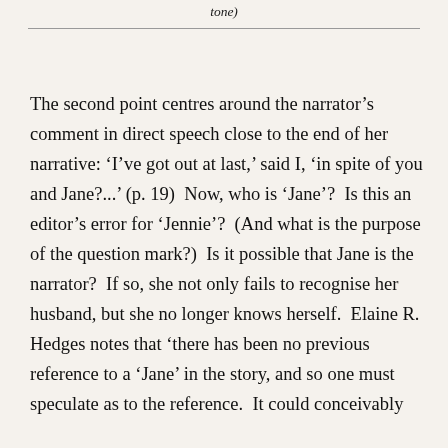tone)
The second point centres around the narrator's comment in direct speech close to the end of her narrative: 'I've got out at last,' said I, 'in spite of you and Jane?...' (p. 19)  Now, who is 'Jane'?  Is this an editor's error for 'Jennie'?  (And what is the purpose of the question mark?)  Is it possible that Jane is the narrator?  If so, she not only fails to recognise her husband, but she no longer knows herself.  Elaine R. Hedges notes that 'there has been no previous reference to a 'Jane' in the story, and so one must speculate as to the reference.  It could conceivably